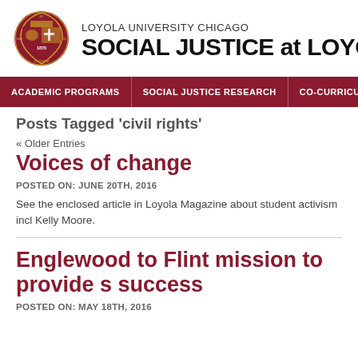[Figure (logo): Loyola University Chicago shield logo with 'AD MAJOREM DEI GLORIAM' text around the border]
LOYOLA UNIVERSITY CHICAGO
SOCIAL JUSTICE at LOYO
ACADEMIC PROGRAMS | SOCIAL JUSTICE RESEARCH | CO-CURRICULAR
Posts Tagged 'civil rights'
« Older Entries
Voices of change
POSTED ON: JUNE 20TH, 2016
See the enclosed article in Loyola Magazine about student activism incl Kelly Moore.
Englewood to Flint mission to provide s success
POSTED ON: MAY 18TH, 2016